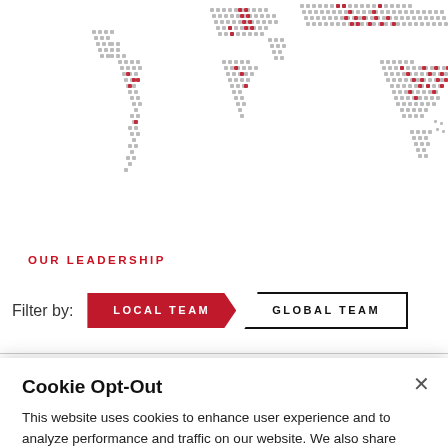[Figure (map): Dotted world map with grey and red dots indicating global presence, partially cropped showing Americas, Europe, Africa, and Asia-Pacific regions]
OUR LEADERSHIP
Filter by:  LOCAL TEAM  GLOBAL TEAM
Cookie Opt-Out
This website uses cookies to enhance user experience and to analyze performance and traffic on our website. We also share information about your use of our site with our social media, advertising and analytics partners. Cookie Policy.
Cookie Settings